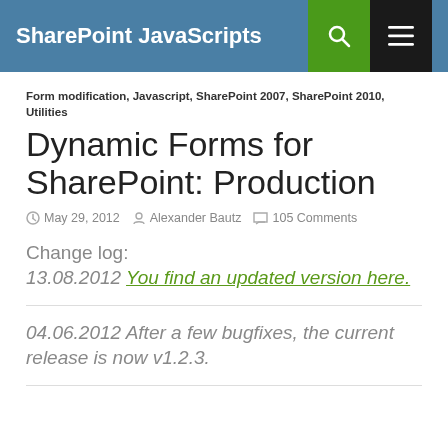SharePoint JavaScripts
Form modification, Javascript, SharePoint 2007, SharePoint 2010, Utilities
Dynamic Forms for SharePoint: Production
May 29, 2012   Alexander Bautz   105 Comments
Change log:
13.08.2012 You find an updated version here.
04.06.2012 After a few bugfixes, the current release is now v1.2.3.